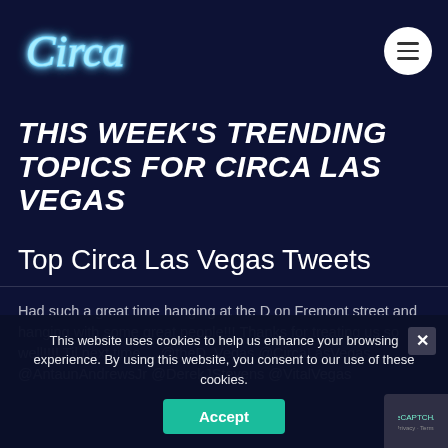[Figure (logo): Circa logo in neon blue script style on dark navy background]
THIS WEEK'S TRENDING TOPICS FOR CIRCA LAS VEGAS
Top Circa Las Vegas Tweets
Had such a great time hanging at the D on Fremont street and hanging with some great people!!! Thanks for treating us so well!!!! Til next time.... @theD_Vegas @CircaLasVegas @AntaunAndrewsJr @DerekJStevens @VitalVegas
This website uses cookies to help us enhance your browsing experience. By using this website, you consent to our use of these cookies.